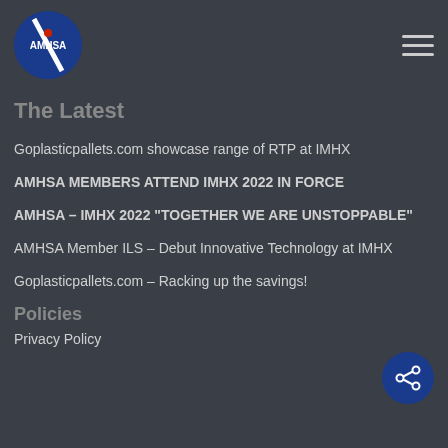[Figure (logo): AMHSA circular logo with blue background and white compass/arrow design]
The Latest
Goplasticpallets.com showcase range of RTP at IMHX
AMHSA MEMBERS ATTEND IMHX 2022 IN FORCE
AMHSA – IMHX 2022 "TOGETHER WE ARE UNSTOPPABLE"
AMHSA Member ILS – Debut Innovative Technology at IMHX
Goplasticpallets.com – Racking up the savings!
Policies
Privacy Policy